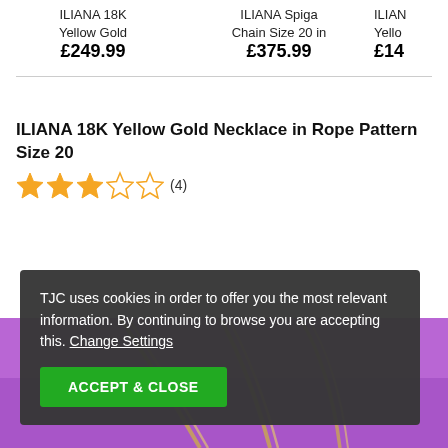ILIANA 18K Yellow Gold £249.99
ILIANA Spiga Chain Size 20 in £375.99
ILIANA Yellow £14
ILIANA 18K Yellow Gold Necklace in Rope Pattern Size 20
★★★☆☆ (4)
TJC uses cookies in order to offer you the most relevant information. By continuing to browse you are accepting this. Change Settings
ACCEPT & CLOSE
[Figure (photo): Product image area showing gold rope necklace on purple background]